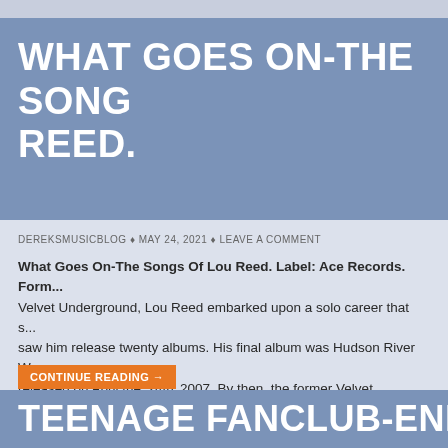WHAT GOES ON-THE SONGS OF LOU REED.
DEREKSMUSICBLOG ♦ MAY 24, 2021 ♦ LEAVE A COMMENT
What Goes On-The Songs Of Lou Reed. Label: Ace Records. Form... Velvet Underground, Lou Reed embarked upon a solo career that s... saw him release twenty albums. His final album was Hudson River W... released on April the '24th' 2007. By then, the former Velvet Underg...
CONTINUE READING →
TEENAGE FANCLUB-ENDLE